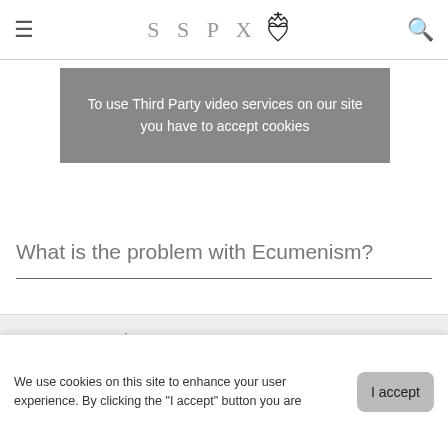SSPX — Society of Saint Pius X navigation header with hamburger menu and search icon
[Figure (screenshot): Gray cookie consent box for third-party video services with text: To use Third Party video services on our site you have to accept cookies]
What is the problem with Ecumenism?
[Figure (logo): SSPX Society of Saint Pius X footer logo with heart and crown emblem]
We use cookies on this site to enhance your user experience. By clicking the "I accept" button you are giving your consent for us to set cookies.